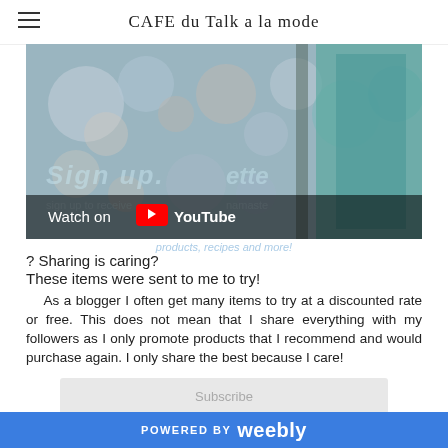CAFE du Talk a la mode
[Figure (screenshot): YouTube video thumbnail with Watch on YouTube overlay bar at the bottom, showing a blurred colorful background image]
products, recipes and more!
? Sharing is caring?
These items were sent to me to try!
As a blogger I often get many items to try at a discounted rate or free. This does not mean that I share everything with my followers as I only promote products that I recommend and would purchase again. I only share the best because I care!
Subscribe
Shop for yours below:
POWERED BY weebly